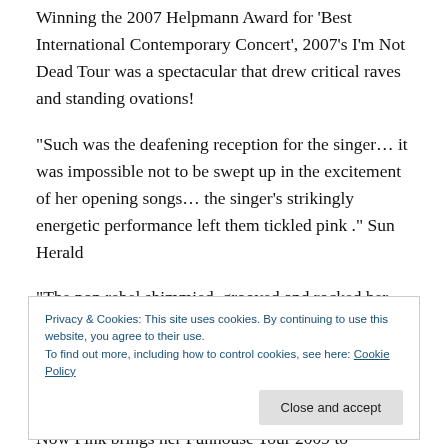Winning the 2007 Helpmann Award for 'Best International Contemporary Concert', 2007's I'm Not Dead Tour was a spectacular that drew critical raves and standing ovations!
“Such was the deafening reception for the singer… it was impossible not to be swept up in the excitement of her opening songs… the singer’s strikingly energetic performance left them tickled pink .” Sun Herald
“The pop rebel shimmied, grooved and rocked her way across the arena all night, turning her performance into an elaborate stage show to take her sometimes controversial
Privacy & Cookies: This site uses cookies. By continuing to use this website, you agree to their use.
To find out more, including how to control cookies, see here: Cookie Policy
Now Pink brings her Funhouse Tour 2009 to Australia